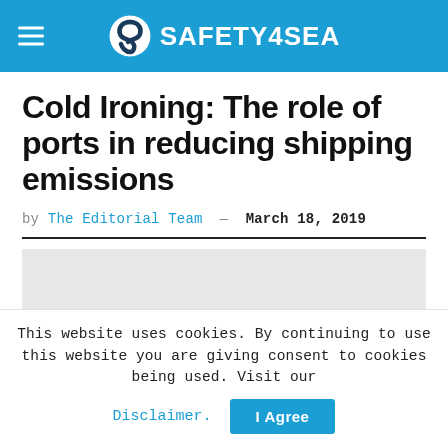SAFETY4SEA
Cold Ironing: The role of ports in reducing shipping emissions
by The Editorial Team — March 18, 2019
[Figure (photo): Article featured image placeholder (light gray rectangle)]
This website uses cookies. By continuing to use this website you are giving consent to cookies being used. Visit our Disclaimer. I Agree